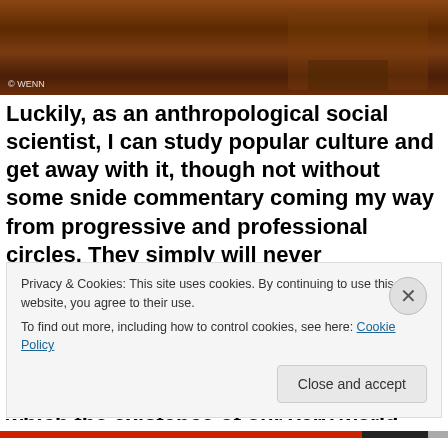[Figure (photo): Partial photo showing leather furniture and a person's legs/shoes, with '© WENN' watermark in bottom left corner]
Luckily, as an anthropological social scientist, I can study popular culture and get away with it, though not without some snide commentary coming my way from progressive and professional circles. They simply will never understand an intellectual who can speak to working folks because he's one of them. They simply don't get my attempts to package the crucial understandings of modern science and social sciences, on which the existence of our very world
Privacy & Cookies: This site uses cookies. By continuing to use this website, you agree to their use.
To find out more, including how to control cookies, see here: Cookie Policy